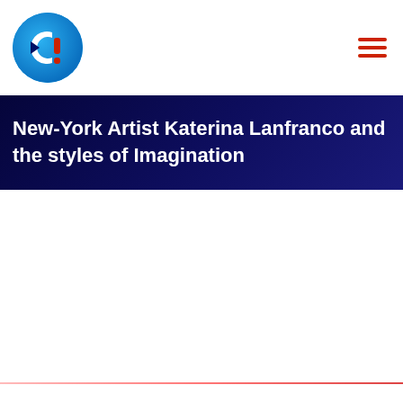CI logo and navigation menu
New-York Artist Katerina Lanfranco and the styles of Imagination
Home   Showrooms   Events